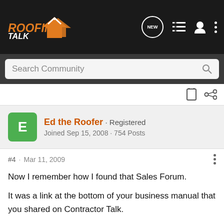Roofing Talk — Search Community navigation bar
#4 · Mar 11, 2009
Ed the Roofer · Registered
Joined Sep 15, 2008 · 754 Posts
Now I remember how I found that Sales Forum.
It was a link at the bottom of your business manual that you shared on Contractor Talk.
I need to give you credit over there for the referral.